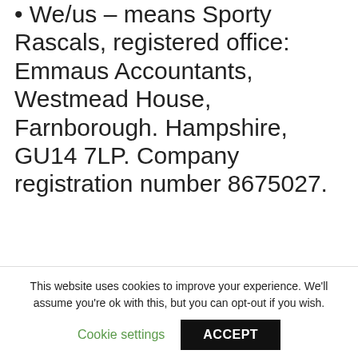• We/us – means Sporty Rascals, registered office: Emmaus Accountants, Westmead House, Farnborough. Hampshire, GU14 7LP. Company registration number 8675027.
• Website – means the website located at www.sportyrascals.com or any subsequent URL which may replace it.
This website uses cookies to improve your experience. We'll assume you're ok with this, but you can opt-out if you wish.